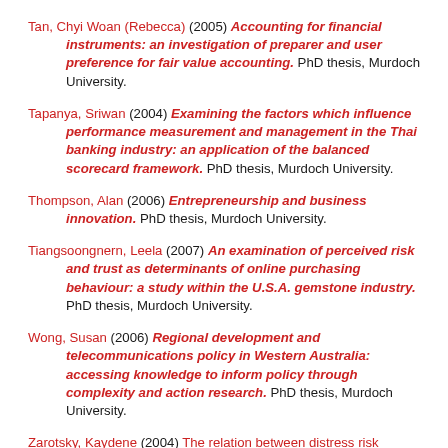Tan, Chyi Woan (Rebecca) (2005) Accounting for financial instruments: an investigation of preparer and user preference for fair value accounting. PhD thesis, Murdoch University.
Tapanya, Sriwan (2004) Examining the factors which influence performance measurement and management in the Thai banking industry: an application of the balanced scorecard framework. PhD thesis, Murdoch University.
Thompson, Alan (2006) Entrepreneurship and business innovation. PhD thesis, Murdoch University.
Tiangsoongnern, Leela (2007) An examination of perceived risk and trust as determinants of online purchasing behaviour: a study within the U.S.A. gemstone industry. PhD thesis, Murdoch University.
Wong, Susan (2006) Regional development and telecommunications policy in Western Australia: accessing knowledge to inform policy through complexity and action research. PhD thesis, Murdoch University.
Zarotsky, Kaydene (2004) The relation between distress risk...